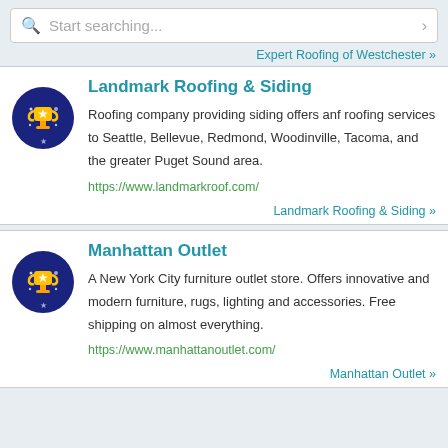Start searching...
Expert Roofing of Westchester »
Landmark Roofing & Siding
Roofing company providing siding offers anf roofing services to Seattle, Bellevue, Redmond, Woodinville, Tacoma, and the greater Puget Sound area.
https://www.landmarkroof.com/
Landmark Roofing & Siding »
Manhattan Outlet
A New York City furniture outlet store. Offers innovative and modern furniture, rugs, lighting and accessories. Free shipping on almost everything.
https://www.manhattanoutlet.com/
Manhattan Outlet »